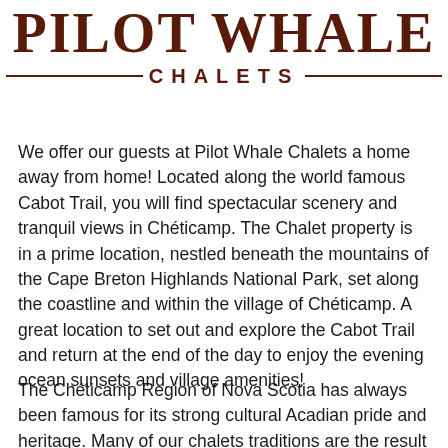[Figure (logo): Pilot Whale Chalets logo with large bold text 'PILOT WHALE' and below it '— CHALETS —' with horizontal rules]
We offer our guests at Pilot Whale Chalets a home away from home! Located along the world famous Cabot Trail, you will find spectacular scenery and tranquil views in Chéticamp. The Chalet property is in a prime location, nestled beneath the mountains of the Cape Breton Highlands National Park, set along the coastline and within the village of Chéticamp. A great location to set out and explore the Cabot Trail and return at the end of the day to enjoy the evening ocean sunsets and village amenities!
The Chéticamp Region of Nova Scotia has always been famous for its strong cultural Acadian pride and heritage. Many of our chalets traditions are the result...